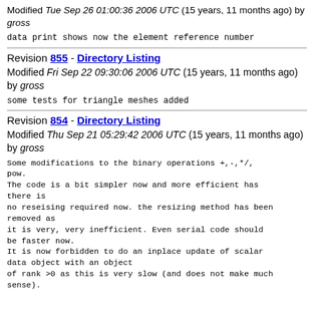Modified Tue Sep 26 01:00:36 2006 UTC (15 years, 11 months ago) by gross
data print shows now the element reference number
Revision 855 - Directory Listing
Modified Fri Sep 22 09:30:06 2006 UTC (15 years, 11 months ago) by gross
some tests for triangle meshes added
Revision 854 - Directory Listing
Modified Thu Sep 21 05:29:42 2006 UTC (15 years, 11 months ago) by gross
Some modifications to the binary operations +,-,*/,pow.
The code is a bit simpler now and more efficient has there is
no reseising required now. the resizing method has been removed as
it is very, very inefficient. Even serial code should be faster now.
It is now forbidden to do an inplace update of scalar data object with an object
of rank >0 as this is very slow (and does not make much sense).